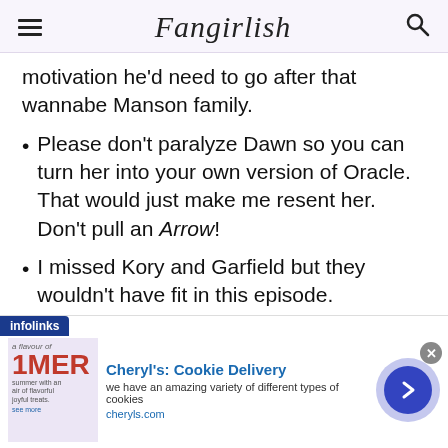Fangirlish
motivation he'd need to go after that wannabe Manson family.
Please don't paralyze Dawn so you can turn her into your own version of Oracle. That would just make me resent her. Don't pull an Arrow!
I missed Kory and Garfield but they wouldn't have fit in this episode.
Once again, this episode has left me wanting more. That's not a bad thing. I just wonder if this show was meant to be binged instead of watching week to week.
[Figure (infographic): Advertisement banner for Cheryl's Cookie Delivery with infolinks label, product image, title, description, URL cheryls.com, and a blue circular arrow button. Close (x) button in top right.]